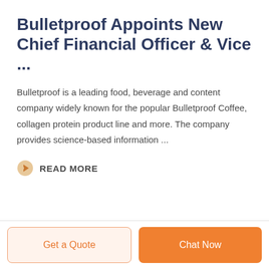Bulletproof Appoints New Chief Financial Officer & Vice ...
Bulletproof is a leading food, beverage and content company widely known for the popular Bulletproof Coffee, collagen protein product line and more. The company provides science-based information ...
READ MORE
Get a Quote
Chat Now